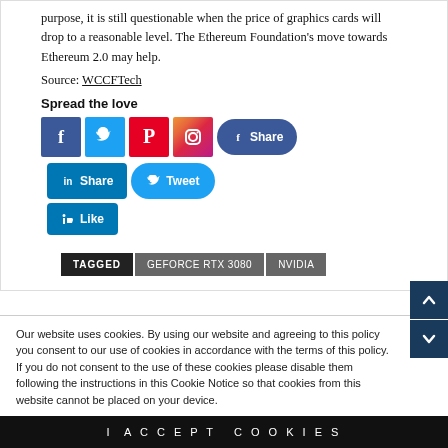purpose, it is still questionable when the price of graphics cards will drop to a reasonable level. The Ethereum Foundation's move towards Ethereum 2.0 may help.
Source: WCCFTech
Spread the love
[Figure (infographic): Social media share buttons: Facebook, Twitter, Pinterest, Instagram icons, Facebook Share button, LinkedIn Share button, LinkedIn Like button, Twitter Tweet button]
TAGGED  GEFORCE RTX 3080  NVIDIA
Our website uses cookies. By using our website and agreeing to this policy you consent to our use of cookies in accordance with the terms of this policy. If you do not consent to the use of these cookies please disable them following the instructions in this Cookie Notice so that cookies from this website cannot be placed on your device.
I ACCEPT COOKIES